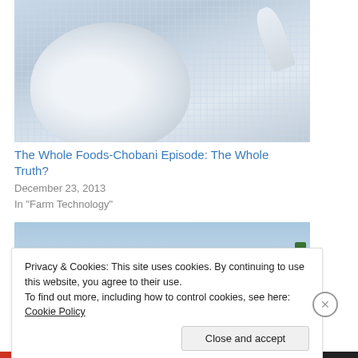[Figure (photo): Close-up photo of a white bowl or cup on a light blue textured cloth or towel, with a spoon visible. Soft blue and white tones.]
The Whole Foods-Chobani Episode: The Whole Truth?
December 23, 2013
In "Farm Technology"
[Figure (photo): Outdoor landscape photo with blue sky, trees and sandy ground.]
Privacy & Cookies: This site uses cookies. By continuing to use this website, you agree to their use.
To find out more, including how to control cookies, see here: Cookie Policy
Close and accept